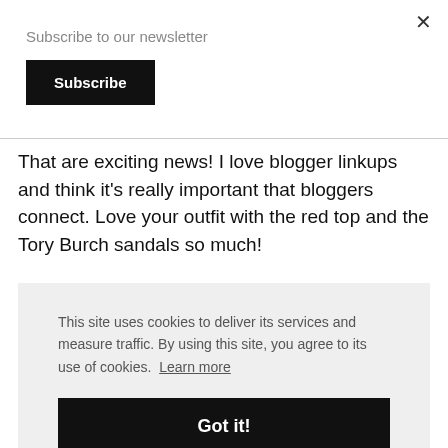Subscribe to our newsletter
Subscribe
That are exciting news! I love blogger linkups and think it's really important that bloggers connect. Love your outfit with the red top and the Tory Burch sandals so much!
This site uses cookies to deliver its services and measure traffic. By using this site, you agree to its use of cookies.  Learn more
Got it!